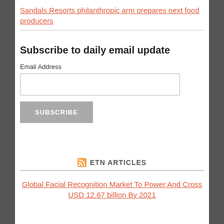Sandals Resorts philanthropic arm prepares next food producers
Subscribe to daily email update
Email Address
[Figure (other): Email address input field]
[Figure (other): SUBSCRIBE button]
RSS ETN ARTICLES
Global Facial Recognition Market To Power And Cross USD 12.67 billion By 2021